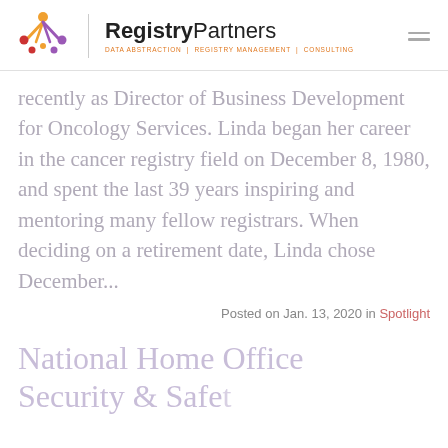RegistryPartners — DATA ABSTRACTION | REGISTRY MANAGEMENT | CONSULTING
recently as Director of Business Development for Oncology Services. Linda began her career in the cancer registry field on December 8, 1980, and spent the last 39 years inspiring and mentoring many fellow registrars. When deciding on a retirement date, Linda chose December...
Posted on Jan. 13, 2020 in Spotlight
National Home Office Security & Safety